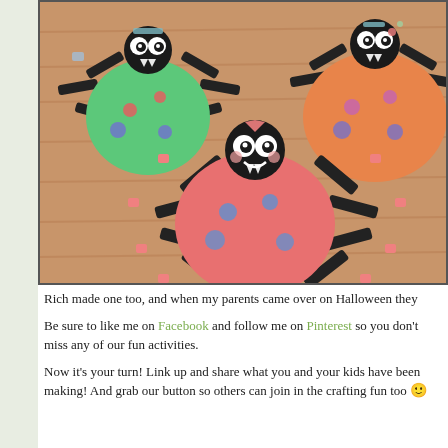[Figure (photo): Photo of three colorful paper spider crafts on a wood floor. A green spider (top left), orange spider (top right), and pink/red spider (center foreground), each with a large round colored body, black paper legs, white cartoon eyes, and small colored dot decorations.]
Rich made one too, and when my parents came over on Halloween they
Be sure to like me on Facebook and follow me on Pinterest so you don't miss any of our fun activities.
Now it's your turn! Link up and share what you and your kids have been making! And grab our button so others can join in the crafting fun too 🙂